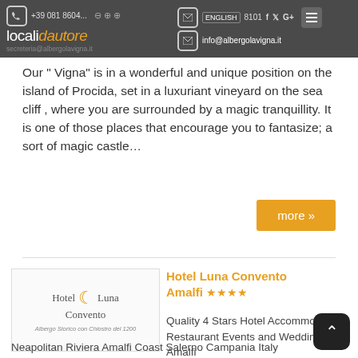localidautore | +39 081 8604... | ENGLISH | ...8101 36 | info@albergolavigna.it
Our " Vigna" is in a wonderful and unique position on the island of Procida, set in a luxuriant vineyard on the sea cliff , where you are surrounded by a magic tranquillity. It is one of those places that encourage you to fantasize; a sort of magic castle…
more »
[Figure (logo): Hotel Luna Convento logo with crescent moon, text: Hotel Luna Convento, Albergo Storico con Chiostro del 1200]
Hotel Luna Convento Amalfi ★★★★
Quality 4 Stars Hotel Accommodation Restaurant Events and Weddings Amalfi Neapolitan Riviera Amalfi Coast Salerno Campania Italy
Amalfi
Via Pantaleone Comite, 19
+39 089871002
+39 089871333